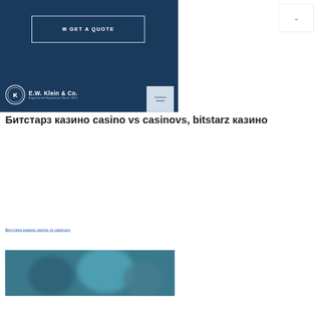GET A QUOTE
[Figure (logo): E.W. Klein & Co. logo — circular emblem with letters EWK, text 'E.W. Klein & Co.' and 'Engineered Equipment Since 1921' on dark navy background]
Битстарз казино casino vs casinovs, bitstarz казино
Битстарз казино casino vs casinovs
[Figure (photo): Blurred photo showing people in a casino or similar environment with teal/blue tones]